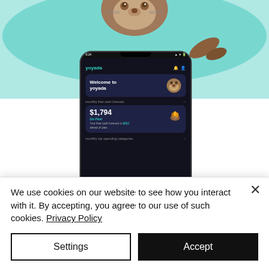[Figure (screenshot): Top portion of a webpage showing a teal/light blue illustration with an otter/beaver character peeking from top, and a smartphone mockup displaying the yoyada app. The app screen shows: 'Welcome to yoyada', 'monthly free cash forecast', '$1,794', 'On Fire!', 'Your free cash forecast is $863 ahead of plan.', 'monthly top spending categories']
We use cookies on our website to see how you interact with it. By accepting, you agree to our use of such cookies. Privacy Policy
Settings
Accept